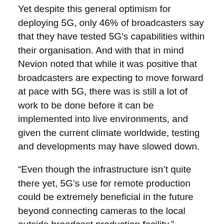Yet despite this general optimism for deploying 5G, only 46% of broadcasters say that they have tested 5G's capabilities within their organisation. And with that in mind Nevion noted that while it was positive that broadcasters are expecting to move forward at pace with 5G, there was is still a lot of work to be done before it can be implemented into live environments, and given the current climate worldwide, testing and developments may have slowed down.
“Even though the infrastructure isn’t quite there yet, 5G’s use for remote production could be extremely beneficial in the future beyond connecting cameras to the local outside broadcast production facility,” commented Nevion chief technologist Andy Rayner. “As broadcasters contemplate using 5G in production, they must consider a number of issues, such as getting dedicated bandwidth, as well as how to handle timing and security. Investigations are